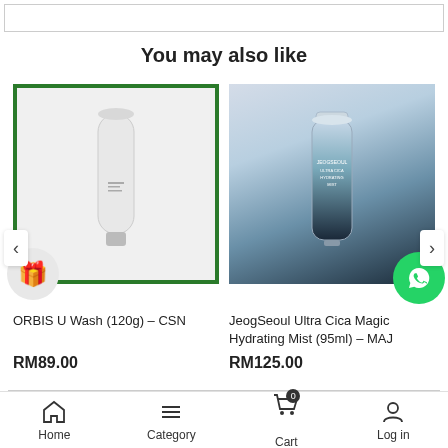[Figure (screenshot): Top search or address bar element]
You may also like
[Figure (photo): ORBIS U Wash 120g product photo - white squeeze tube on white background, inside green border card]
ORBIS U Wash (120g) – CSN
RM89.00
[Figure (photo): JeogSeoul Ultra Cica Magic Hydrating Mist 95ml product photo - blue/black gradient bottle]
JeogSeoul Ultra Cica Magic Hydrating Mist (95ml) – MAJ
RM125.00
Home   Category   Cart   Log in